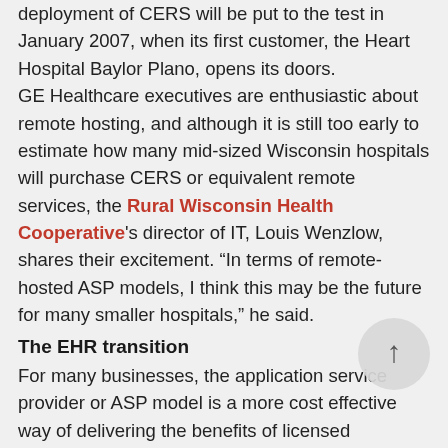deployment of CERS will be put to the test in January 2007, when its first customer, the Heart Hospital Baylor Plano, opens its doors. GE Healthcare executives are enthusiastic about remote hosting, and although it is still too early to estimate how many mid-sized Wisconsin hospitals will purchase CERS or equivalent remote services, the Rural Wisconsin Health Cooperative's director of IT, Louis Wenzlow, shares their excitement. “In terms of remote-hosted ASP models, I think this may be the future for many smaller hospitals,” he said.
The EHR transition
For many businesses, the application service provider or ASP model is a more cost effective way of delivering the benefits of licensed software, without the complexity of hosting and the sto…